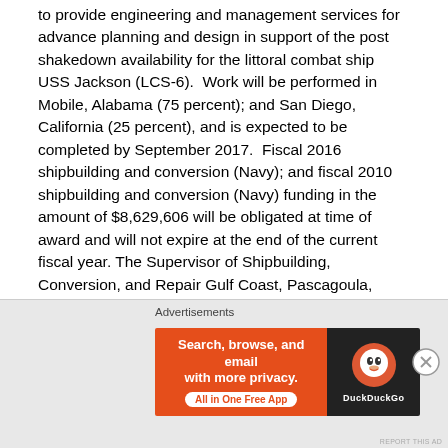to provide engineering and management services for advance planning and design in support of the post shakedown availability for the littoral combat ship USS Jackson (LCS-6). Work will be performed in Mobile, Alabama (75 percent); and San Diego, California (25 percent), and is expected to be completed by September 2017. Fiscal 2016 shipbuilding and conversion (Navy); and fiscal 2010 shipbuilding and conversion (Navy) funding in the amount of $8,629,606 will be obligated at time of award and will not expire at the end of the current fiscal year. The Supervisor of Shipbuilding, Conversion, and Repair Gulf Coast, Pascagoula, Mississippi, is the contracting activity.
Advertisements
[Figure (infographic): DuckDuckGo advertisement banner. Left orange section: 'Search, browse, and email with more privacy. All in One Free App'. Right dark section with DuckDuckGo logo.]